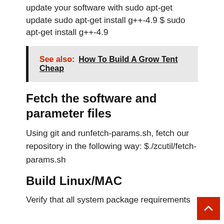update your software with sudo apt-get update sudo apt-get install g++-4.9 $ sudo apt-get install g++-4.9
See also:  How To Build A Grow Tent Cheap
Fetch the software and parameter files
Using git and runfetch-params.sh, fetch our repository in the following way: $./zcutil/fetch-params.sh
Build Linux/MAC
Verify that all system package requirements